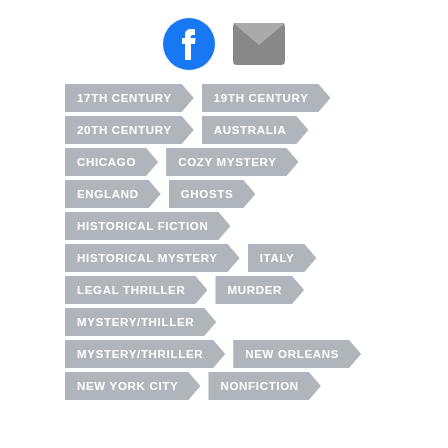[Figure (infographic): Facebook and email/envelope social media icons]
17TH CENTURY
19TH CENTURY
20TH CENTURY
AUSTRALIA
CHICAGO
COZY MYSTERY
ENGLAND
GHOSTS
HISTORICAL FICTION
HISTORICAL MYSTERY
ITALY
LEGAL THRILLER
MURDER
MYSTERY/THILLER
MYSTERY/THRILLER
NEW ORLEANS
NEW YORK CITY
NONFICTION